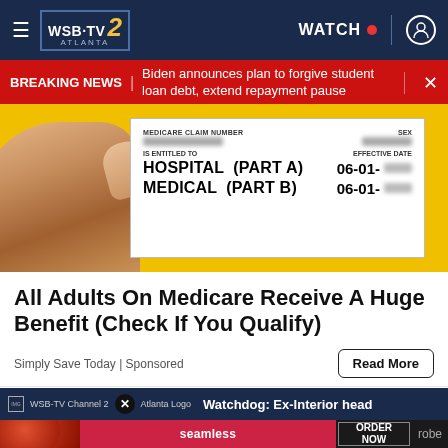WSB-TV ATLANTA | WATCH | user icon
BREAKING NEWS | Biden announces plan to forgive student loan debt, extend repayment pause
[Figure (photo): A hand holding a Medicare card showing MEDICARE CLAIM NUMBER (blurred), IS ENTITLED TO HOSPITAL (PART A) 06-01- and MEDICAL (PART B) 06-01- with EFFECTIVE DATE, on a yellow background]
All Adults On Medicare Receive A Huge Benefit (Check If You Qualify)
Simply Save Today | Sponsored
Read More
[Figure (screenshot): WSB-TV Channel 2 Atlanta Logo with close button and headline Watchdog: Ex-Interior head]
[Figure (screenshot): Seamless pizza ad with ORDER NOW button and partial text robe]